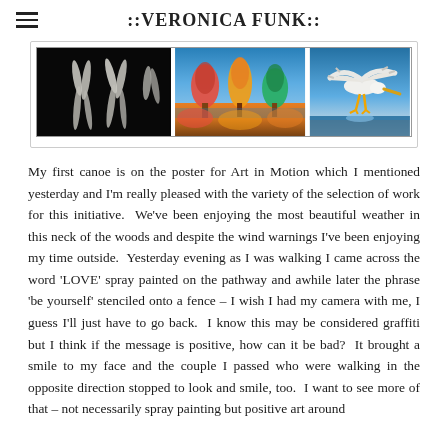::VERONICA FUNK::
[Figure (photo): A horizontal strip of three photographs: left panel shows dancers or figures on a dark background in black and white, center panel shows a colorful landscape painting with vivid autumn trees, right panel shows a pelican or large white bird in flight over water.]
My first canoe is on the poster for Art in Motion which I mentioned yesterday and I'm really pleased with the variety of the selection of work for this initiative.  We've been enjoying the most beautiful weather in this neck of the woods and despite the wind warnings I've been enjoying my time outside.  Yesterday evening as I was walking I came across the word 'LOVE' spray painted on the pathway and awhile later the phrase 'be yourself' stenciled onto a fence – I wish I had my camera with me, I guess I'll just have to go back.  I know this may be considered graffiti but I think if the message is positive, how can it be bad?  It brought a smile to my face and the couple I passed who were walking in the opposite direction stopped to look and smile, too.  I want to see more of that – not necessarily spray painting but positive art around